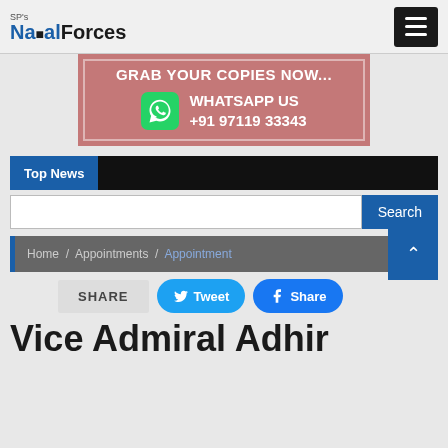SP's Naval Forces
[Figure (infographic): Ad banner with pink/rose background: GRAB YOUR COPIES NOW... WHATSAPP US +91 97119 33343 with WhatsApp icon]
Top News
Search
Home / Appointments / Appointment
SHARE  Tweet  Share
Vice Admiral Adhir